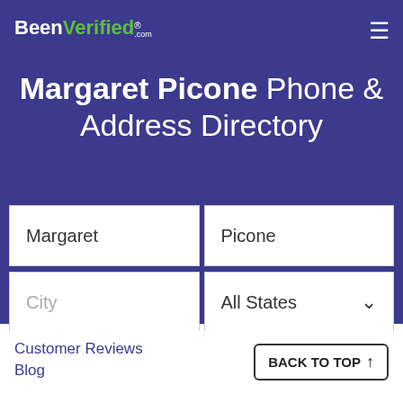BeenVerified.com
Margaret Picone Phone & Address Directory
Margaret | Picone
City | All States
SEARCH
Customer Reviews
Blog
BACK TO TOP ↑